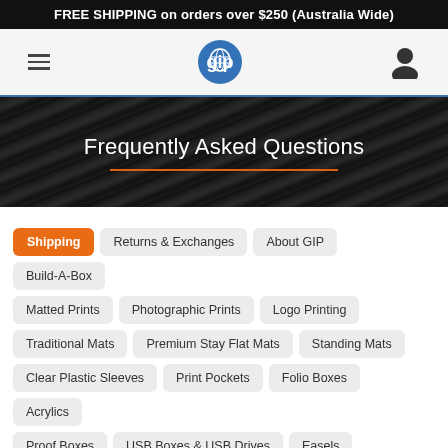FREE SHIPPING on orders over $250 (Australia Wide)
[Figure (screenshot): Website navigation bar with hamburger menu icon, circular blue GIP logo, and user account icon]
Frequently Asked Questions
Shipping
Returns & Exchanges
About GIP
Build-A-Box
Matted Prints
Photographic Prints
Logo Printing
Traditional Mats
Premium Stay Flat Mats
Standing Mats
Clear Plastic Sleeves
Print Pockets
Folio Boxes
Acrylics
Proof Boxes
USB Boxes & USB Drives
Easels
Concertina Folios
Frames
Slightly Imperfect